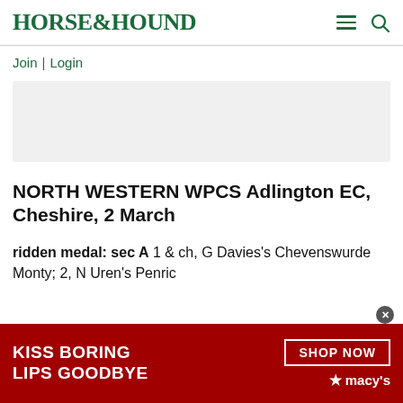HORSE&HOUND
Join | Login
[Figure (other): Gray advertisement placeholder rectangle]
NORTH WESTERN WPCS Adlington EC, Cheshire, 2 March
ridden medal: sec A 1 & ch, G Davies's Chevenswurde Monty; 2, N Uren's Penric
[Figure (other): Macy's lipstick advertisement banner with text KISS BORING LIPS GOODBYE and SHOP NOW button with macy's star logo]